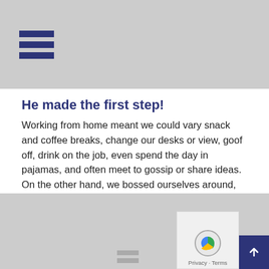He made the first step!
Working from home meant we could vary snack and coffee breaks, change our desks or view, goof off, drink on the job, even spend the day in pajamas, and often meet to gossip or share ideas. On the other hand, we bossed ourselves around, set impossible goals, and demanded longer hours than office jobs usually...
ADMIN3763   LEGAL ADVICE
[Figure (photo): Gray placeholder image area at bottom of page with a small hamburger/menu icon visible at the bottom center]